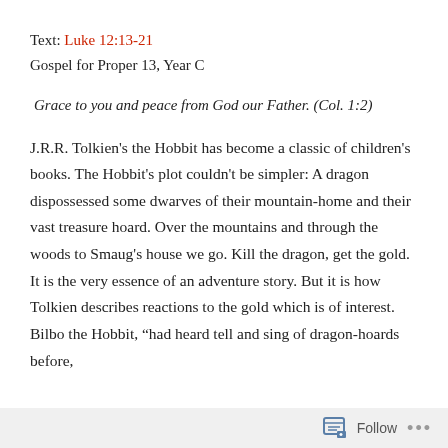Text: Luke 12:13-21
Gospel for Proper 13, Year C
Grace to you and peace from God our Father. (Col. 1:2)
J.R.R. Tolkien's the Hobbit has become a classic of children's books. The Hobbit's plot couldn't be simpler: A dragon dispossessed some dwarves of their mountain-home and their vast treasure hoard. Over the mountains and through the woods to Smaug's house we go. Kill the dragon, get the gold. It is the very essence of an adventure story. But it is how Tolkien describes reactions to the gold which is of interest. Bilbo the Hobbit, “had heard tell and sing of dragon-hoards before,
Follow ...